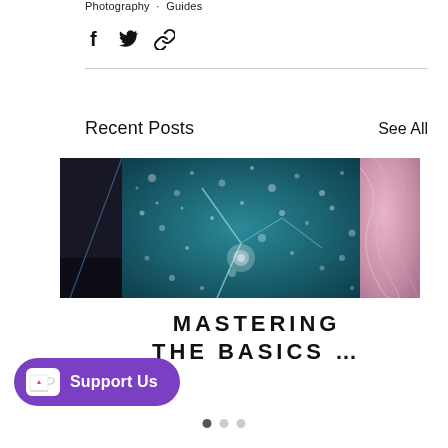Photography · Guides
[Figure (other): Share icons row: Facebook icon, Twitter bird icon, link/chain icon]
[Figure (photo): Three post thumbnail images side by side: left partial dark building/umbrella photo, center water droplets on glass surface in teal/blue tones, right partial pink/mauve soft texture photo]
MASTERING THE BASICS …
[Figure (other): Purple 'Support Us' button with Ko-fi cup icon on left]
Dots navigation indicator: three dots, first filled/active, second and third inactive